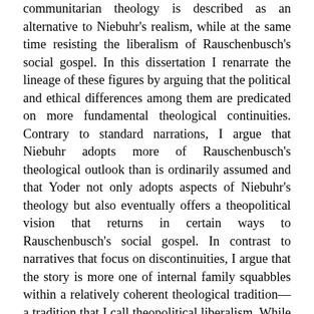communitarian theology is described as an alternative to Niebuhr's realism, while at the same time resisting the liberalism of Rauschenbusch's social gospel. In this dissertation I renarrate the lineage of these figures by arguing that the political and ethical differences among them are predicated on more fundamental theological continuities. Contrary to standard narrations, I argue that Niebuhr adopts more of Rauschenbusch's theological outlook than is ordinarily assumed and that Yoder not only adopts aspects of Niebuhr's theology but also eventually offers a theopolitical vision that returns in certain ways to Rauschenbusch's social gospel. In contrast to narratives that focus on discontinuities, I argue that the story is more one of internal family squabbles within a relatively coherent theological tradition—a tradition that I call theopolitical liberalism. While offering different answers and emphases, all three figures are united by a shared question that guides their work: How can Christian theology inform contemporary sociopolitical concerns? I limit my discussion to three theological themes that have become defining for Yoder's project in particular: Christology, eschatology, and ecclesiology. By demonstrating how Yoder's treatment of these key themes has precedent in these earlier figures, I hope to provide the most compelling case for my renarration. In addition to renarrating this significant chapter of twentieth-century American Protestant theology, I conclude by